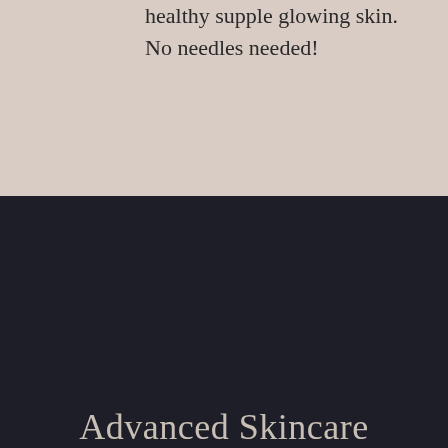healthy supple glowing skin. No needles needed!
Advanced Skincare
Dermaplaning
Starting at $85
This unique service is the perfect option for any clients looking for exfoliation and removal of peach fizz on their face. Our trained esthetician gently removes dead skin and hair from the face using a scalpel leaving behind smooth, soft,